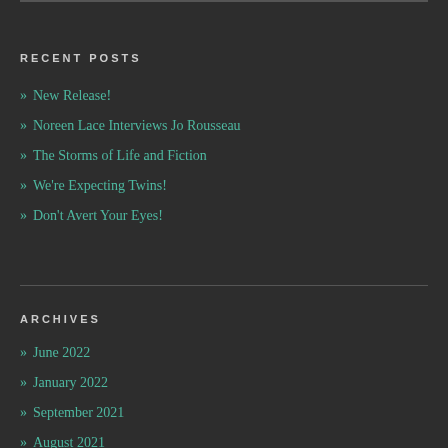RECENT POSTS
» New Release!
» Noreen Lace Interviews Jo Rousseau
» The Storms of Life and Fiction
» We're Expecting Twins!
» Don't Avert Your Eyes!
ARCHIVES
» June 2022
» January 2022
» September 2021
» August 2021